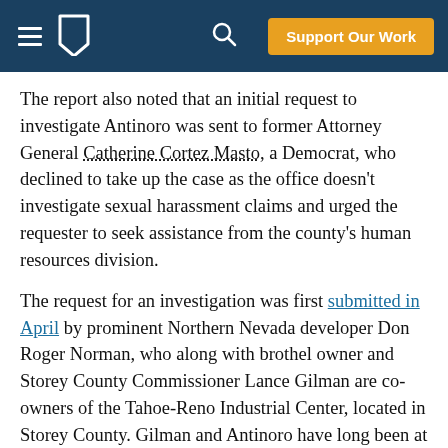Support Our Work
The report also noted that an initial request to investigate Antinoro was sent to former Attorney General Catherine Cortez Masto, a Democrat, who declined to take up the case as the office doesn't investigate sexual harassment claims and urged the requester to seek assistance from the county's human resources division.
The request for an investigation was first submitted in April by prominent Northern Nevada developer Don Roger Norman, who along with brothel owner and Storey County Commissioner Lance Gilman are co-owners of the Tahoe-Reno Industrial Center, located in Storey County. Gilman and Antinoro have long been at odds — the industrial park funded an ultimately unsuccessful recall effort against the sheriff in 2017.
The report suggests other options for pursuing action against